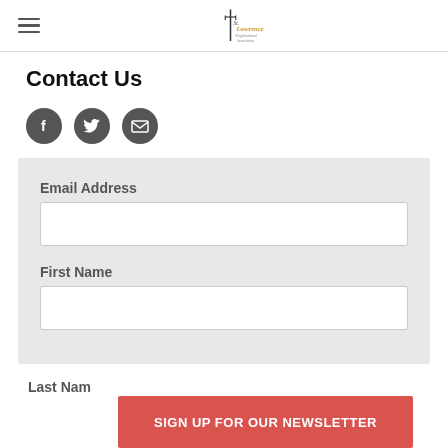St. Lawrence (logo) with hamburger menu
Contact Us
[Figure (infographic): Three dark circular social media icons: Facebook (f), Twitter (bird), and Email (envelope)]
Email Address
First Name
Last Name
SIGN UP FOR OUR NEWSLETTER